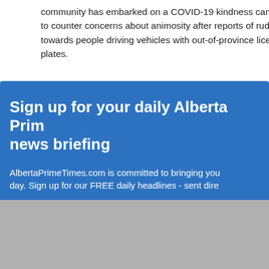community has embarked on a COVID-19 kindness campaign to counter concerns about animosity after reports of rudeness towards people driving vehicles with out-of-province license plates.
Sign up for your daily Alberta Prime news briefing
AlbertaPrimeTimes.com is committed to bringing you the news of the day. Sign up for our FREE daily headlines - sent directly to you.
Email address
Don't worry: we won't share your information with anyone, and you can unsubscribe at any time.